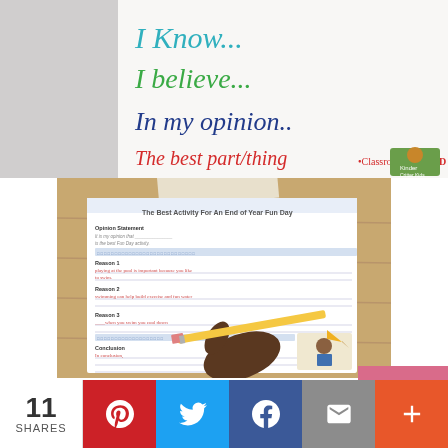[Figure (photo): Handwritten anchor chart on white paper/fabric showing opinion writing sentence starters: 'I Know...' in teal/blue, 'I believe...' in green, 'In my opinion..' in dark blue, 'The best part/thing' in red, with 'Classroom TESTED Resources' logo on right]
[Figure (photo): Child's hand holding a yellow pencil writing on a structured opinion writing worksheet titled 'The Best Activity For An End of Year Fun Day', with sections for Opinion Statement, Reason 1, Reason 2, Reason 3, and Conclusion]
11 SHARES